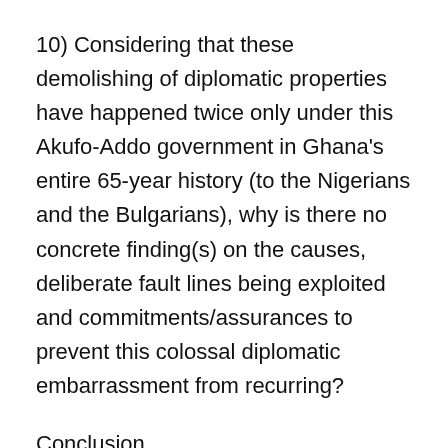10) Considering that these demolishing of diplomatic properties have happened twice only under this Akufo-Addo government in Ghana's entire 65-year history (to the Nigerians and the Bulgarians), why is there no concrete finding(s) on the causes, deliberate fault lines being exploited and commitments/assurances to prevent this colossal diplomatic embarrassment from recurring?
Conclusion
The NDC Caucus in Parliament shall be pursuing these germane questions from Ministers of State when Parliament resumes next week.
We also wish to serve strong and unambiguous notice that these cover-ups and pathetic whitewash will not